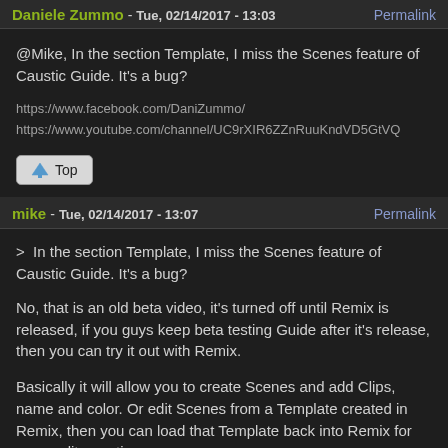Daniele Zummo - Tue, 02/14/2017 - 13:03 | Permalink
@Mike, In the section Template, I miss the Scenes feature of Caustic Guide. It's a bug?
https://www.facebook.com/DaniZummo/
https://www.youtube.com/channel/UC9rXIR6ZZnRuuKndVD5GtVQ
Top
mike - Tue, 02/14/2017 - 13:07 | Permalink
>  In the section Template, I miss the Scenes feature of Caustic Guide. It's a bug?
No, that is an old beta video, it's turned off until Remix is released, if you guys keep beta testing Guide after it's release, then you can try it out with Remix.
Basically it will allow you to create Scenes and add Clips, name and color. Or edit Scenes from a Template created in Remix, then you can load that Template back into Remix for more edit, creation.